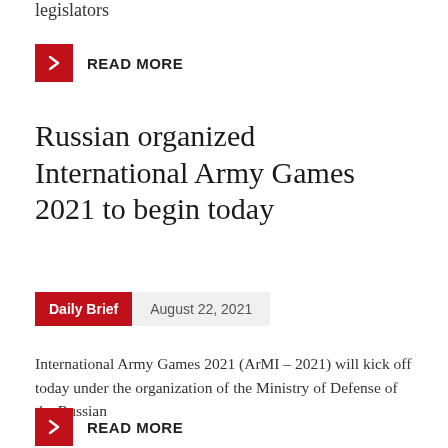legislators
READ MORE
Russian organized International Army Games 2021 to begin today
Daily Brief   August 22, 2021
International Army Games 2021 (ArMI – 2021) will kick off today under the organization of the Ministry of Defense of the Russian
READ MORE